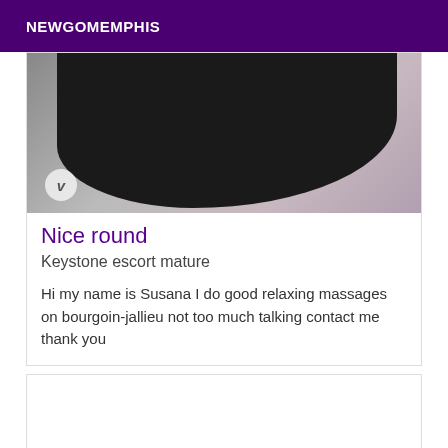NEWGOMEMPHIS
[Figure (photo): Photo showing a person in black fishnet/lace clothing from behind, upper body cropped. Small watermark 'v' logo visible in lower left of image.]
Nice round
Keystone escort mature
Hi my name is Susana I do good relaxing massages on bourgoin-jallieu not too much talking contact me thank you